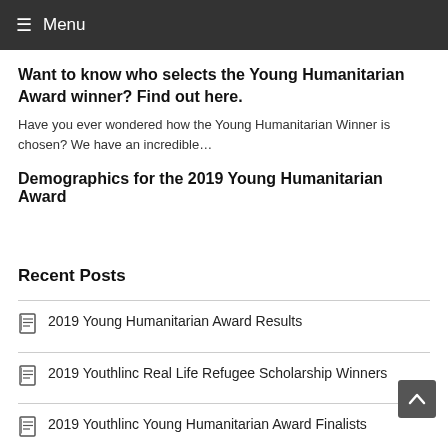≡ Menu
Want to know who selects the Young Humanitarian Award winner? Find out here.
Have you ever wondered how the Young Humanitarian Winner is chosen? We have an incredible…
Demographics for the 2019 Young Humanitarian Award
Recent Posts
2019 Young Humanitarian Award Results
2019 Youthlinc Real Life Refugee Scholarship Winners
2019 Youthlinc Young Humanitarian Award Finalists
Want to know who selects the Young Humanitarian Award winner? Find out here.
Demographics for the 2019 Young Humanitarian Award